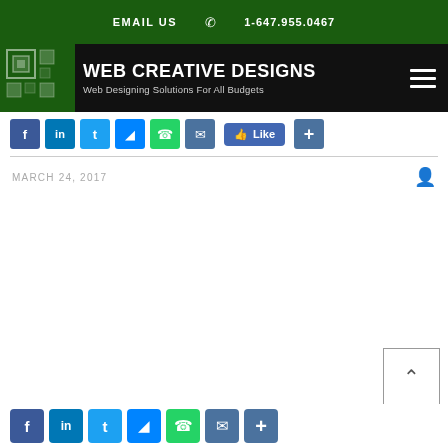EMAIL US   1-647.955.0467
[Figure (logo): Web Creative Designs logo — green square pattern mosaic with nested squares]
WEB CREATIVE DESIGNS
Web Designing Solutions For All Budgets
[Figure (infographic): Social share buttons: Facebook, LinkedIn, Twitter, Messenger, WhatsApp, Email, Like button, Plus/Share button]
MARCH 24, 2017
[Figure (infographic): Bottom social share buttons: Facebook, LinkedIn, Twitter, Messenger, WhatsApp, Email, Plus/Share button]